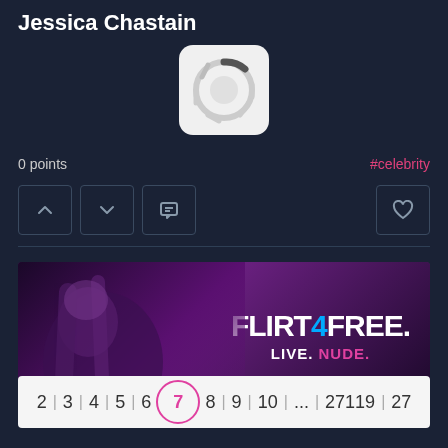Jessica Chastain
[Figure (illustration): Loading/spinner icon placeholder in a light gray rounded square]
0 points
#celebrity
[Figure (infographic): Advertisement banner for Flirt4Free showing LIVE. NUDE. tagline]
2 | 3 | 4 | 5 | 6  7  8 | 9 | 10 | ... | 27119 | 27